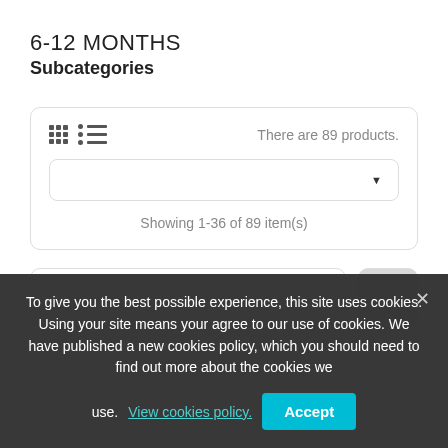6-12 MONTHS
Subcategories
There are 89 products.
Showing 1-36 of 89 item(s)
To give you the best possible experience, this site uses cookies. Using your site means your agree to our use of cookies. We have published a new cookies policy, which you should need to find out more about the cookies we use. View cookies policy.